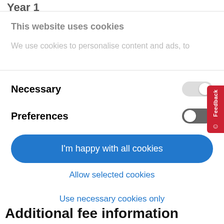Year 1
This website uses cookies
We use cookies to personalise content and ads, to
Necessary
Preferences
I'm happy with all cookies
Allow selected cookies
Use necessary cookies only
Powered by Cookiebot by Usercentrics
Additional fee information